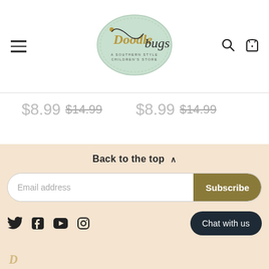[Figure (logo): Doodlebugs A Southern Style Children's Store logo — oval mint green background with cursive script text]
$8.99  $14.99    $8.99  $14.99
Back to the top ∧
Email address
Subscribe
Chat with us